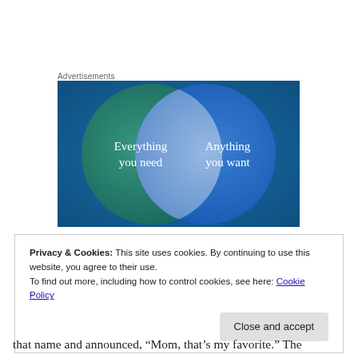Advertisements
[Figure (illustration): Venn diagram advertisement showing two overlapping circles on a blue-green gradient background. Left circle (teal/green) contains the text 'Everything you need'. Right circle (blue) contains text 'Anything you want'. The overlapping area is a lighter blue-gray color.]
Privacy & Cookies: This site uses cookies. By continuing to use this website, you agree to their use.
To find out more, including how to control cookies, see here: Cookie Policy
Close and accept
that name and announced, “Mom, that’s my favorite.” The